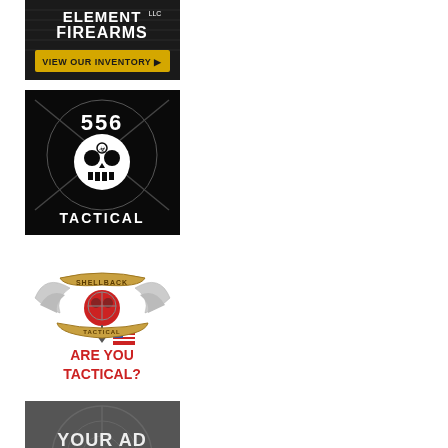[Figure (advertisement): Element LLC Firearms advertisement with dark background, logo text 'ELEMENT LLC FIREARMS' and yellow button 'VIEW OUR INVENTORY ▶']
[Figure (advertisement): 556 Tactical advertisement with black background, skull with crosshairs graphic, text '556 TACTICAL']
[Figure (advertisement): Shellback Tactical advertisement with white background, winged skull logo with US flag, red text 'ARE YOU TACTICAL?']
[Figure (advertisement): Generic ad placeholder with dark grey crosshair target background and white stencil text 'YOUR AD HERE']